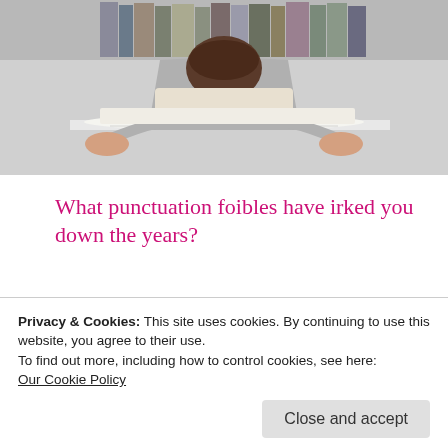[Figure (photo): Person sitting at a desk with hands over an open book, face hidden behind the book, with stacked books in the background]
What punctuation foibles have irked you down the years?
Which quirks of grammar or style do you still wrestle with?
Privacy & Cookies: This site uses cookies. By continuing to use this website, you agree to their use.
To find out more, including how to control cookies, see here:
Our Cookie Policy
Close and accept
Where Commas Fear
But and Because;